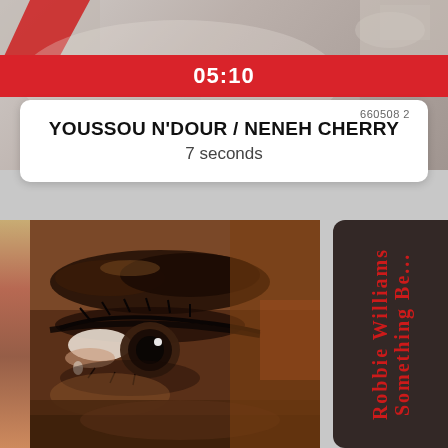[Figure (screenshot): Music player interface screenshot showing a red timer bar with '05:10', a white card with artist 'YOUSSOU N'DOUR / NENEH CHERRY' and song '7 seconds', and below it a close-up eye album art for Robbie Williams 'Something Beautiful' with red vertical text overlay.]
05:10
YOUSSOU N'DOUR / NENEH CHERRY
7 seconds
660508 2
Robbie Williams Something Be...